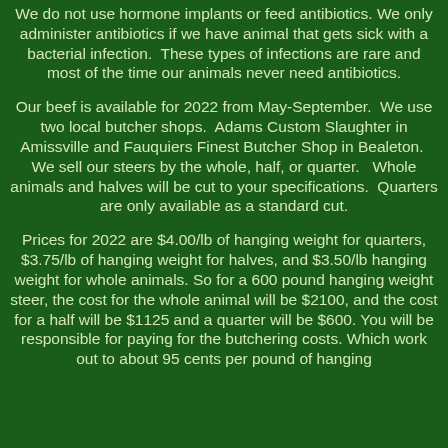We do not use hormone implants or feed antibiotics. We only administer antibiotics if we have animal that gets sick with a bacterial infection. These types of infections are rare and most of the time our animals never need antibiotics.
Our beef is available for 2022 from May-September. We use two local butcher shops. Adams Custom Slaughter in Amissville and Fauquiers Finest Butcher Shop in Bealeton. We sell our steers by the whole, half, or quarter. Whole animals and halves will be cut to your specifications. Quarters are only available as a standard cut.
Prices for 2022 are $4.00/lb of hanging weight for quarters, $3.75/lb of hanging weight for halves, and $3.50/lb hanging weight for whole animals. So for a 600 pound hanging weight steer, the cost for the whole animal will be $2100, and the cost for a half will be $1125 and a quarter will be $600. You will be responsible for paying for the butchering costs. Which work out to about 95 cents per pound of hanging